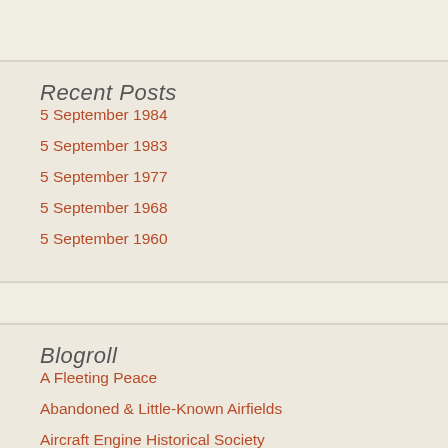Recent Posts
5 September 1984
5 September 1983
5 September 1977
5 September 1968
5 September 1960
Blogroll
A Fleeting Peace
Abandoned & Little-Known Airfields
Aircraft Engine Historical Society